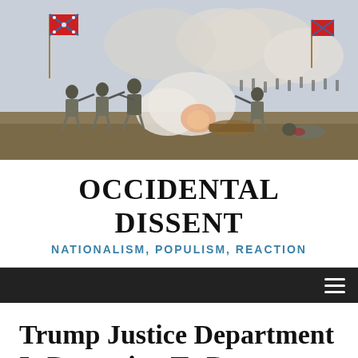[Figure (illustration): Historical painting of a Civil War battle scene showing Confederate soldiers with Confederate battle flag charging forward with rifles and cannons firing amid smoke and fallen soldiers]
OCCIDENTAL DISSENT
NATIONALISM, POPULISM, REACTION
[Figure (screenshot): Dark navigation bar with hamburger menu icon (three horizontal lines) on the right side]
Trump Justice Department Is Preparing To Prosecute Julian